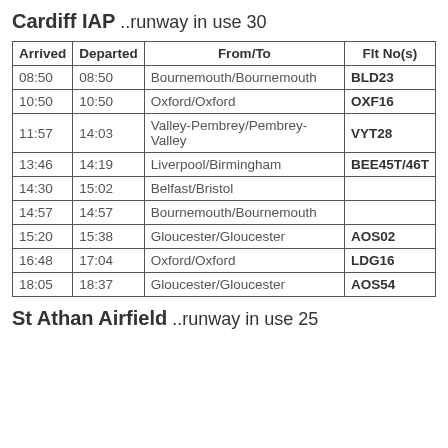Cardiff IAP ..runway in use 30
| Arrived | Departed | From/To | Flt No(s) |
| --- | --- | --- | --- |
| 08:50 | 08:50 | Bournemouth/Bournemouth | BLD23 |
| 10:50 | 10:50 | Oxford/Oxford | OXF16 |
| 11:57 | 14:03 | Valley-Pembrey/Pembrey-Valley | VYT28 |
| 13:46 | 14:19 | Liverpool/Birmingham | BEE45T/46T |
| 14:30 | 15:02 | Belfast/Bristol |  |
| 14:57 | 14:57 | Bournemouth/Bournemouth |  |
| 15:20 | 15:38 | Gloucester/Gloucester | AOS02 |
| 16:48 | 17:04 | Oxford/Oxford | LDG16 |
| 18:05 | 18:37 | Gloucester/Gloucester | AOS54 |
St Athan Airfield ..runway in use 25